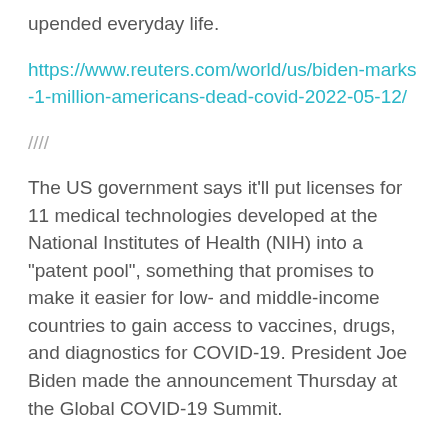upended everyday life.
https://www.reuters.com/world/us/biden-marks-1-million-americans-dead-covid-2022-05-12/
////
The US government says it'll put licenses for 11 medical technologies developed at the National Institutes of Health (NIH) into a "patent pool", something that promises to make it easier for low- and middle-income countries to gain access to vaccines, drugs, and diagnostics for COVID-19. President Joe Biden made the announcement Thursday at the Global COVID-19 Summit.